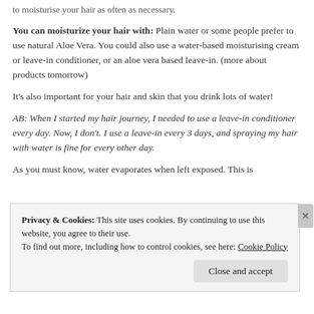to moisturise your hair as often as necessary.
You can moisturize your hair with: Plain water or some people prefer to use natural Aloe Vera. You could also use a water-based moisturising cream or leave-in conditioner, or an aloe vera based leave-in. (more about products tomorrow)
It's also important for your hair and skin that you drink lots of water!
AB: When I started my hair journey, I needed to use a leave-in conditioner every day. Now, I don't. I use a leave-in every 3 days, and spraying my hair with water is fine for every other day.
As you must know, water evaporates when left exposed. This is
Privacy & Cookies: This site uses cookies. By continuing to use this website, you agree to their use.
To find out more, including how to control cookies, see here: Cookie Policy
Close and accept